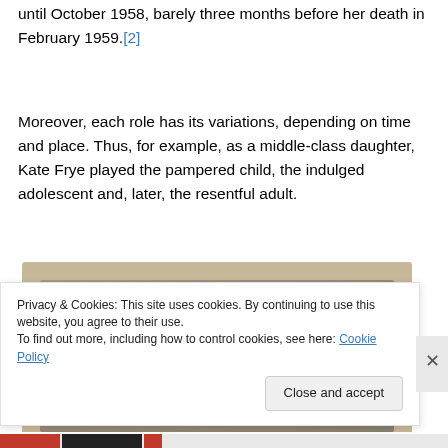until October 1958, barely three months before her death in February 1959.[2]
Moreover, each role has its variations, depending on time and place. Thus, for example, as a middle-class daughter, Kate Frye played the pampered child, the indulged adolescent and, later, the resentful adult.
[Figure (photo): A vintage photograph showing an old book or album with a brownish cover. The upper portion shows a blank/gray rectangular panel. At the bottom center of the photograph, a partial figure or head with dark reddish-brown hair is visible.]
Privacy & Cookies: This site uses cookies. By continuing to use this website, you agree to their use.
To find out more, including how to control cookies, see here: Cookie Policy
Close and accept